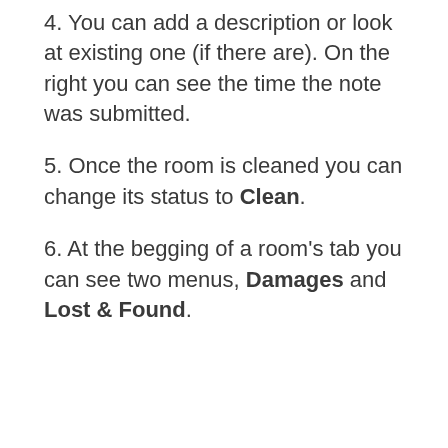4. You can add a description or look at existing one (if there are). On the right you can see the time the note was submitted.
5. Once the room is cleaned you can change its status to Clean.
6. At the begging of a room's tab you can see two menus, Damages and Lost & Found.